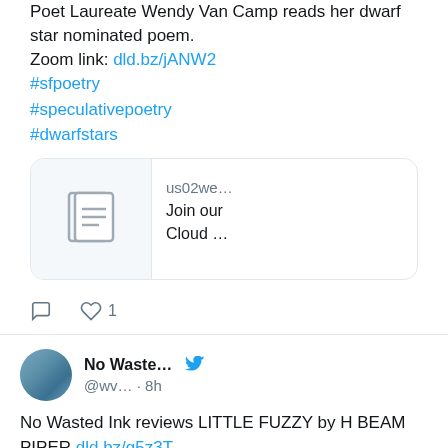Poet Laureate Wendy Van Camp reads her dwarf star nominated poem.
Zoom link: dld.bz/jANW2
#sfpoetry
#speculativepoetry
#dwarfstars
[Figure (screenshot): Link preview card showing document icon, url 'us02we...' and text 'Join our Cloud ...']
reply icon, heart icon, 1
No Waste... @wv... · 8h
No Wasted Ink reviews LITTLE FUZZY by H BEAM PIPER dld.bz/g5z3T #bookreviews #scifi #...